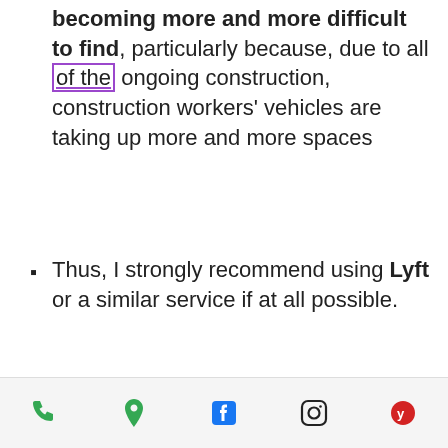becoming more and more difficult to find, particularly because, due to all of the ongoing construction, construction workers' vehicles are taking up more and more spaces
Thus, I strongly recommend using Lyft or a similar service if at all possible.
Two streetcar lines (the A & NS northbound) run directly in front of Sola, stopping at 10th & Glisan, across the street; the B & NS southbound s just one block away, 11th & Glisan)
There is on-street 2-hour
phone | location | facebook | instagram | yelp